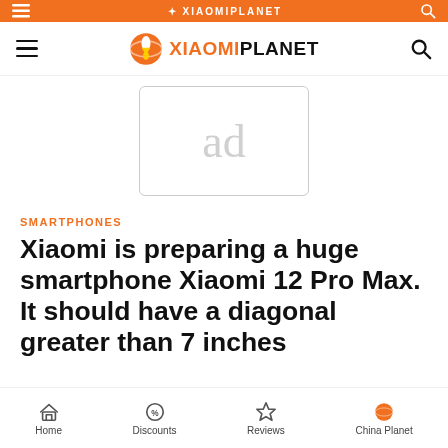XIAOMIPLANET
[Figure (logo): XiaomiPlanet navigation header with hamburger menu, rocket logo, XIAOMIPLANET text, and search icon]
[Figure (other): Ad placeholder box with 'ad' text in light gray]
SMARTPHONES
Xiaomi is preparing a huge smartphone Xiaomi 12 Pro Max. It should have a diagonal greater than 7 inches
10. MAY 2022
0
Home Discounts Reviews China Planet